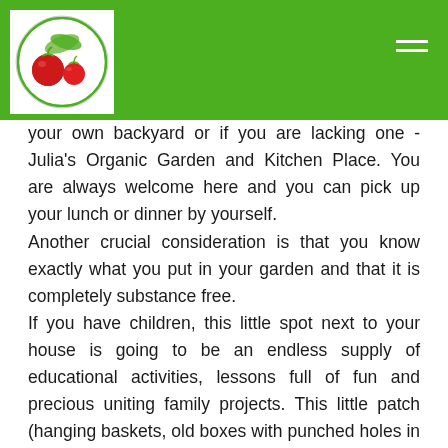[Figure (logo): Julia's Organic Garden and Kitchen Place circular logo with tomatoes and leaves on white background]
your own backyard or if you are lacking one - Julia's Organic Garden and Kitchen Place. You are always welcome here and you can pick up your lunch or dinner by yourself.
Another crucial consideration is that you know exactly what you put in your garden and that it is completely substance free.
If you have children, this little spot next to your house is going to be an endless supply of educational activities, lessons full of fun and precious uniting family projects. This little patch (hanging baskets, old boxes with punched holes in the bottom, egg cartoons filled with dirt... the list is endless and you'll be surprised how